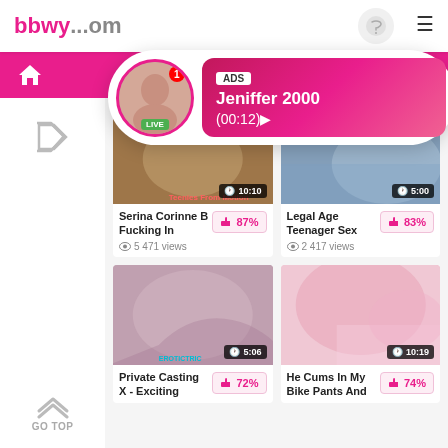bbwy...com
[Figure (screenshot): ADS popup overlay with avatar marked LIVE, showing Jeniffer 2000 (00:12)]
[Figure (photo): Video thumbnail 1 with duration 10:10]
Serina Corinne B Fucking In
87%
5 471 views
[Figure (photo): Video thumbnail 2 with duration 5:00]
Legal Age Teenager Sex
83%
2 417 views
[Figure (photo): Video thumbnail 3 with duration 5:06]
Private Casting X - Exciting
72%
[Figure (photo): Video thumbnail 4 with duration 10:19]
He Cums In My Bike Pants And
74%